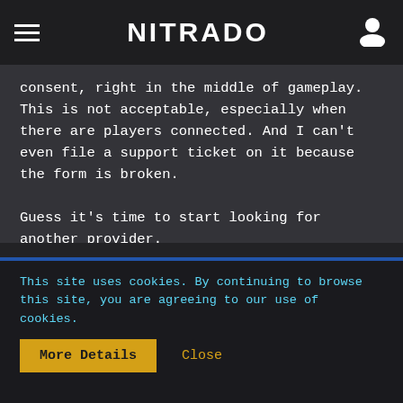NITRADO
consent, right in the middle of gameplay. This is not acceptable, especially when there are players connected. And I can't even file a support ticket on it because the form is broken.

Guess it's time to start looking for another provider.
boubbin likes this.
TheMurderHorn
Customer
This site uses cookies. By continuing to browse this site, you are agreeing to our use of cookies.